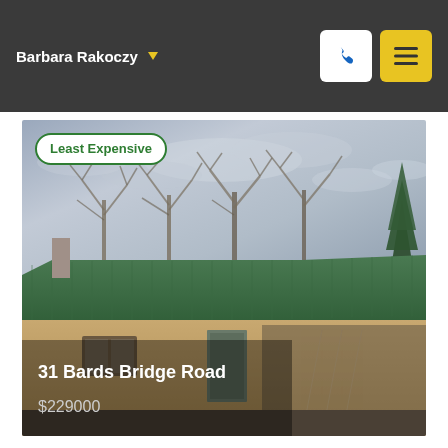Barbara Rakoczy
[Figure (photo): Exterior photo of a single-story house with a green metal roof, tan stucco walls, bare winter trees in the background, and a cloudy sky. A badge reading 'Least Expensive' appears in the upper left corner of the photo. The property address '31 Bards Bridge Road' and price '$229000' are overlaid at the bottom of the image.]